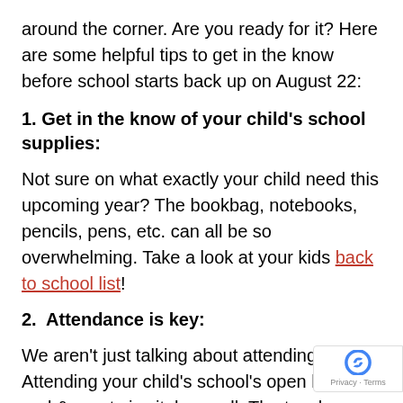around the corner. Are you ready for it? Here are some helpful tips to get in the know before school starts back up on August 22:
1. Get in the know of your child's school supplies:
Not sure on what exactly your child need this upcoming year? The bookbag, notebooks, pencils, pens, etc. can all be so overwhelming. Take a look at your kids back to school list!
2.  Attendance is key:
We aren't just talking about attending school! Attending your child's school's open houses' and & greets is vital as well. The teachers are excited meet their students and give them the expectations of